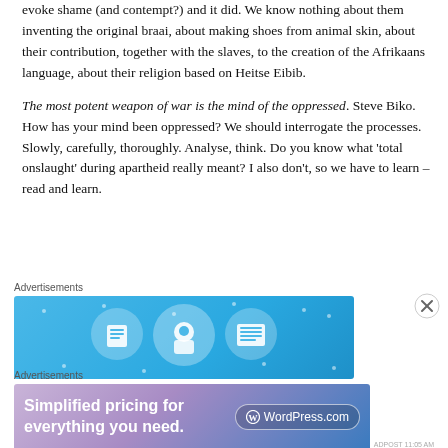evoke shame (and contempt?) and it did. We know nothing about them inventing the original braai, about making shoes from animal skin, about their contribution, together with the slaves, to the creation of the Afrikaans language, about their religion based on Heitse Eibib.
The most potent weapon of war is the mind of the oppressed. Steve Biko. How has your mind been oppressed? We should interrogate the processes. Slowly, carefully, thoroughly. Analyse, think. Do you know what 'total onslaught' during apartheid really meant? I also don't, so we have to learn – read and learn.
[Figure (other): Advertisement banner showing icons on a blue background with the label 'Advertisements' above it]
[Figure (other): Advertisement banner for WordPress.com reading 'Simplified pricing for everything you need.' with WordPress.com logo on gradient purple-blue background, labeled 'Advertisements']